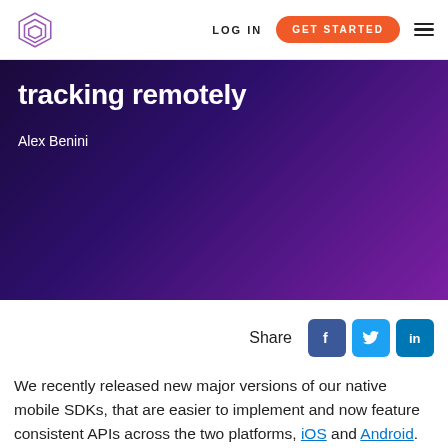LOG IN | GET STARTED
tracking remotely
Alex Benini
[Figure (infographic): Share icons: Facebook, Twitter, LinkedIn]
We recently released new major versions of our native mobile SDKs, that are easier to implement and now feature consistent APIs across the two platforms, iOS and Android. The new mobile trackers also introduce an easier approach for the configuration of the tracker,